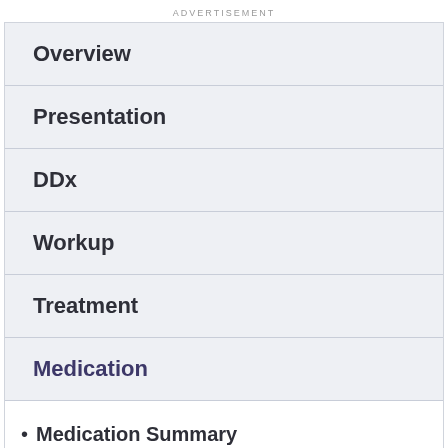ADVERTISEMENT
Overview
Presentation
DDx
Workup
Treatment
Medication
Medication Summary
Antibiotics
Follow-up